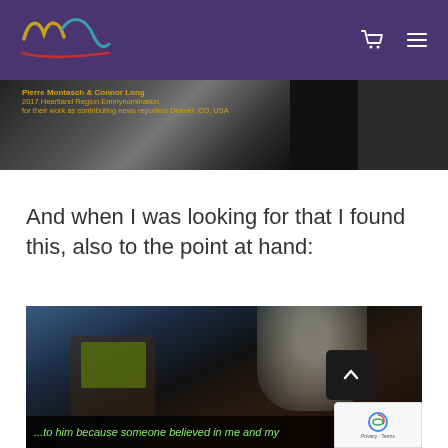Navigation bar with logo and icons
[Figure (screenshot): Dark photograph with yellow text caption: 'Pierre Montasch & Connor Long 2017 Heartland Region Emmynomination for their work as contributing news reporters Denver, CO, USA']
And when I was looking for that I found this, also to the point at hand:
[Figure (screenshot): Dark photograph of a person at a podium/lectern with a green display screen. Bottom caption bar reads: '...to him because someone believed in me and my'. A chevron/up arrow button and reCAPTCHA badge are overlaid. 'Privacy - Terms' text visible.]